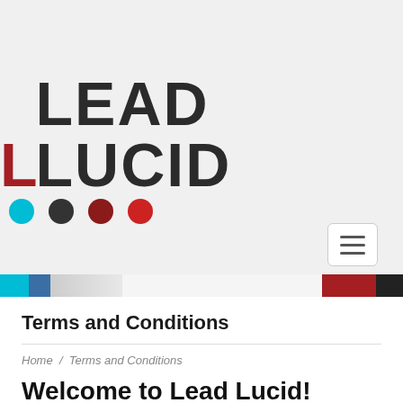[Figure (logo): Lead Lucid logo with large bold text 'LEAD LUCID' and colored dots (cyan, dark, wine, red) below]
[Figure (other): Hamburger menu button (three horizontal lines) in rounded rectangle]
[Figure (other): Decorative banner strip with cyan, blue, gray, red, and dark color blocks]
Terms and Conditions
Home / Terms and Conditions
Welcome to Lead Lucid!